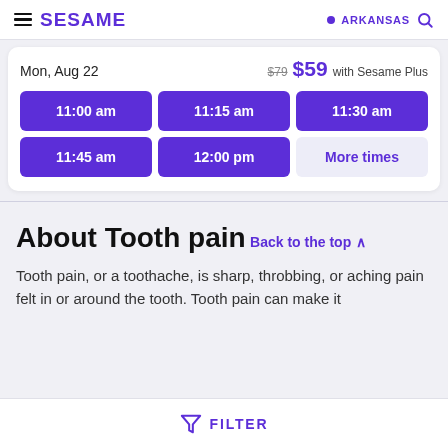SESAME | ARKANSAS
Mon, Aug 22  $79  $59 with Sesame Plus
11:00 am | 11:15 am | 11:30 am | 11:45 am | 12:00 pm | More times
About Tooth pain
Back to the top ^
Tooth pain, or a toothache, is sharp, throbbing, or aching pain felt in or around the tooth. Tooth pain can make it
FILTER